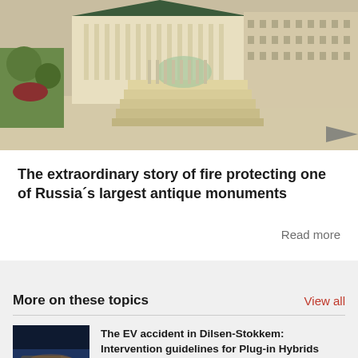[Figure (photo): Aerial or isometric architectural model/rendering of a large classical Russian building complex with neoclassical columns, multiple wings, and surrounding grounds]
The extraordinary story of fire protecting one of Russia´s largest antique monuments
Read more
More on these topics
View all
[Figure (photo): Photo of a damaged or crashed vehicle, possibly an electric vehicle accident scene at night or dusk]
The EV accident in Dilsen-Stokkem: Intervention guidelines for Plug-in Hybrids